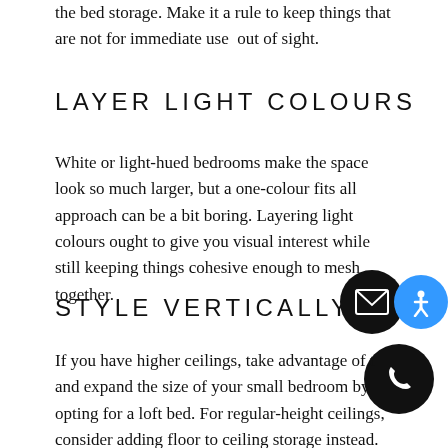the bed storage. Make it a rule to keep things that are not for immediate use out of sight.
LAYER LIGHT COLOURS
White or light-hued bedrooms make the space look so much larger, but a one-colour fits all approach can be a bit boring. Layering light colours ought to give you visual interest while still keeping things cohesive enough to mesh together.
STYLE VERTICALLY
[Figure (illustration): Two circular icon buttons: a black circle with a white envelope/mail icon and a blue circle with a white accessibility person icon, and below that a black circle with a white phone icon.]
If you have higher ceilings, take advantage of t and expand the size of your small bedroom by opting for a loft bed. For regular-height ceilings, consider adding floor to ceiling storage instead.